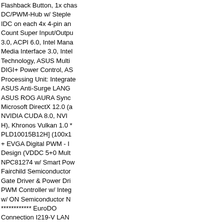Flashback Button, 1x chassis DC/PWM-Hub w/ Steple... IDC on each 4x 4-pin and... Count Super Input/Outp... 3.0, ACPI 6.0, Intel Mana... Media Interface 3.0, Intel... Technology, ASUS Multi... DIGI+ Power Control, AS... Processing Unit: Integrate... ASUS Anti-Surge LANG... ASUS ROG AURA Sync... Microsoft DirectX 12.0 (a... NVIDIA CUDA 8.0, NVI... H), Khronos Vulkan 1.0 *... PLD10015B12H] (100x1... + EVGA Digital PWM - ... Design (VDDC 5+0 Mult... NPC81274 w/ Smart Pow... Fairchild Semiconductor ... Gate Driver & Power Dri... PWM Controller w/ Integ... w/ ON Semiconductor N... ************ EuroDO... Connection I219-V LAN ... QCNFA364A/QCA61x4... Integrated Controller + D... Class 2 [00077026]) ***... Revision 31 (Lithograph:... EEPROM w/ Dual/Quad... Multiplexer/Demultiplexe... Differential Protocols: AS... ASM1061 & USB 3.1 Ge... LVDS Level Shift ICs for... Type-C Power Delivery S... SupremeFX 2015 w/ ASU... Connect, DTS Neo:PC, D... (ASUS ROG SupremeFX... Instruments RC4580 & S...